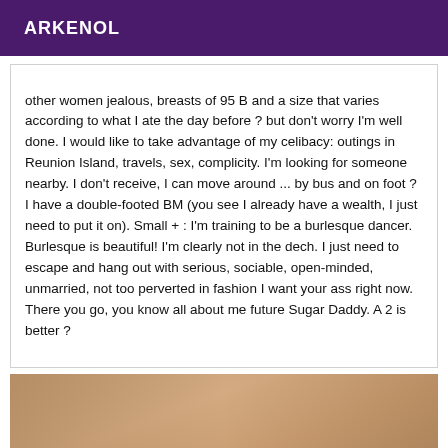ARKENOL
other women jealous, breasts of 95 B and a size that varies according to what I ate the day before ? but don't worry I'm well done. I would like to take advantage of my celibacy: outings in Reunion Island, travels, sex, complicity. I'm looking for someone nearby. I don't receive, I can move around ... by bus and on foot ? I have a double-footed BM (you see I already have a wealth, I just need to put it on). Small + : I'm training to be a burlesque dancer. Burlesque is beautiful! I'm clearly not in the dech. I just need to escape and hang out with serious, sociable, open-minded, unmarried, not too perverted in fashion I want your ass right now. There you go, you know all about me future Sugar Daddy. A 2 is better ?
[Figure (photo): Partial photo of a person, showing hand and upper body with necklace]